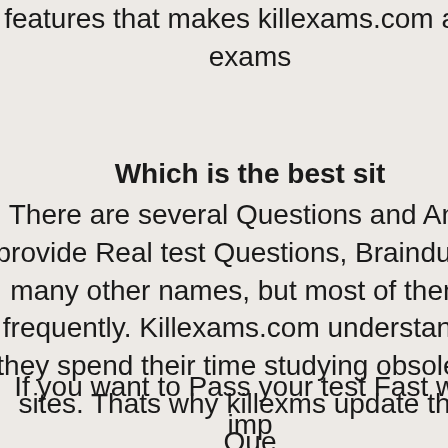features that makes killexams.com a str exams
Which is the best sit
There are several Questions and Answ provide Real test Questions, Braindumps many other names, but most of them a frequently. Killexams.com understands t they spend their time studying obsolete c sites. Thats why killexms update their Que they are experienced in Real Test. test Du date and validated by Certified Profess Questions that is kept up-to-da
If you want to Pass your test Fast with imp contents and topics, They recommend killexams.com and read. When you feel th choose your test from the Certificatio